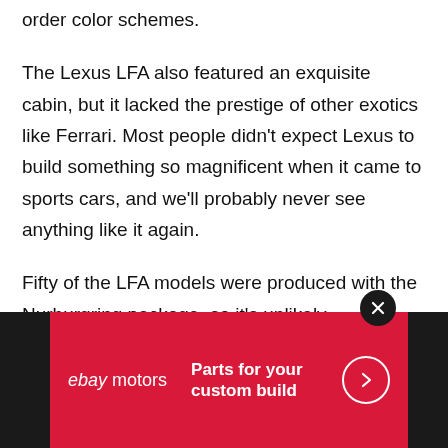order color schemes.
The Lexus LFA also featured an exquisite cabin, but it lacked the prestige of other exotics like Ferrari. Most people didn't expect Lexus to build something so magnificent when it came to sports cars, and we'll probably never see anything like it again.
Fifty of the LFA models were produced with the Nurburgring package, so it's unlikely
[Figure (infographic): eBay Motors advertisement banner on dark background. Red panel with eBay Motors logo on left, 'Parts for your custom build' text in white bold on right, circular arrow button, and close X button on top right.]